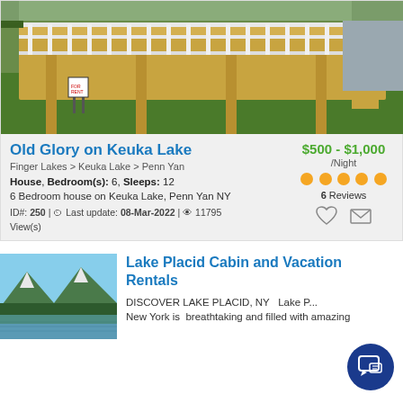[Figure (photo): Photo of a wooden deck/porch of a house with white railings, yellow wood structure, and green lawn in front]
Old Glory on Keuka Lake
$500 - $1,000 /Night
Finger Lakes > Keuka Lake > Penn Yan
House, Bedroom(s): 6, Sleeps: 12
6 Bedroom house on Keuka Lake, Penn Yan NY
6 Reviews
ID#: 250 | Last update: 08-Mar-2022 | 11795 View(s)
[Figure (photo): Photo of a serene mountain lake scene with evergreen trees and mountain reflections in calm water]
Lake Placid Cabin and Vacation Rentals
DISCOVER LAKE PLACID, NY   Lake P... New York is  breathtaking and filled with amazing